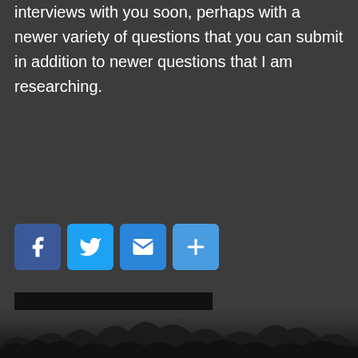interviews with you soon, perhaps with a newer variety of questions that you can submit in addition to newer questions that I am researching.
[Figure (infographic): Four social sharing buttons: Facebook (blue), Twitter (light blue), Email (blue envelope), More/Share (blue plus sign)]
Read More
20 JANUARY 2017  RADIOMIKE INTERVIEWS  NO COMMENTS
RADIOCASBAH